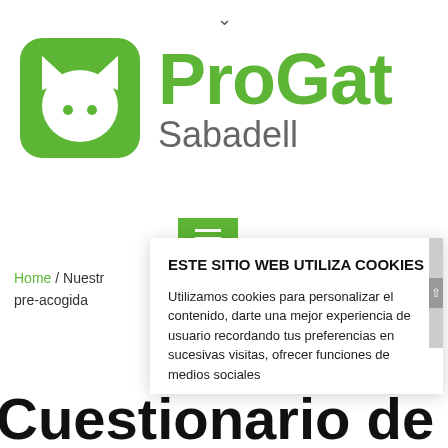[Figure (logo): ProGat Sabadell logo with green cat icon and green/grey text]
[Figure (screenshot): Green hamburger menu button]
ESTE SITIO WEB UTILIZA COOKIES

Utilizamos cookies para personalizar el contenido, darte una mejor experiencia de usuario recordando tus preferencias en sucesivas visitas, ofrecer funciones de medios sociales
Home / Nuestr
pre-acogida
Cuestionario de pre-